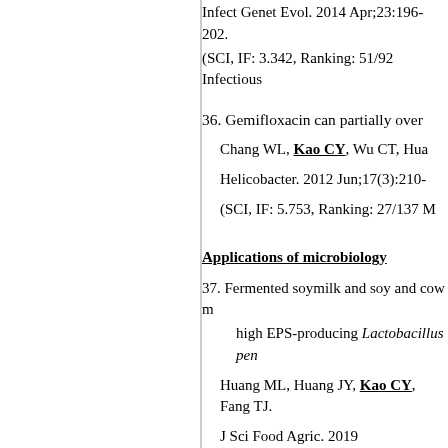Infect Genet Evol. 2014 Apr;23:196-202.
(SCI, IF: 3.342, Ranking: 51/92 Infectious
36. Gemifloxacin can partially over...
Chang WL, Kao CY, Wu CT, Hua...
Helicobacter. 2012 Jun;17(3):210-...
(SCI, IF: 5.753, Ranking: 27/137 M...
Applications of microbiology
37. Fermented soymilk and soy and cow m... high EPS-producing Lactobacillus pen...
Huang ML, Huang JY, Kao CY, Fang TJ.
J Sci Food Agric. 2019 Jul;99(9):4373-4...
(SCI, IF: 3.683, Ranking: 11/83 Ag...